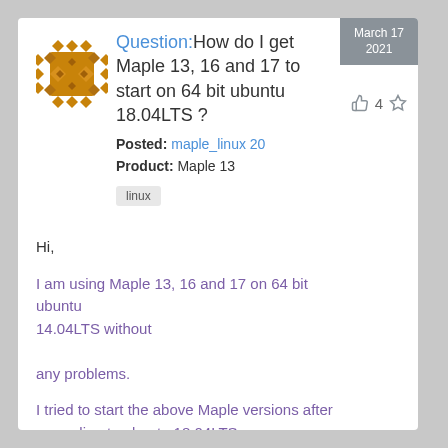[Figure (logo): Decorative geometric maple-leaf pattern avatar icon in orange and brown colors]
Question: How do I get Maple 13, 16 and 17 to start on 64 bit ubuntu 18.04LTS ?
Posted: maple_linux 20
Product: Maple 13
linux
March 17 2021
4
Hi,
I am using Maple 13, 16 and 17 on 64 bit ubuntu 14.04LTS without
any problems.
I tried to start the above Maple versions after upgrading to ubuntu 18.04LTS. Unfortunately, Maple does not start and keeps giving me a notification... The